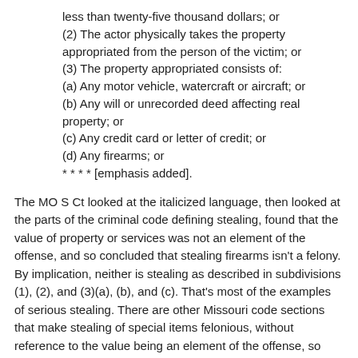less than twenty-five thousand dollars; or
(2) The actor physically takes the property appropriated from the person of the victim; or
(3) The property appropriated consists of:
(a) Any motor vehicle, watercraft or aircraft; or
(b) Any will or unrecorded deed affecting real property; or
(c) Any credit card or letter of credit; or
(d) Any firearms; or
* * * * [emphasis added].
The MO S Ct looked at the italicized language, then looked at the parts of the criminal code defining stealing, found that the value of property or services was not an element of the offense, and so concluded that stealing firearms isn't a felony. By implication, neither is stealing as described in subdivisions (1), (2), and (3)(a), (b), and (c). That's most of the examples of serious stealing. There are other Missouri code sections that make stealing of special items felonious, without reference to the value being an element of the offense, so these survive the holding in Bazell, but generic stealing of high-value items, including cars, credit cards,